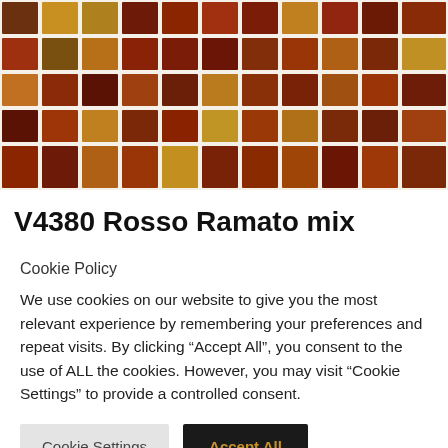[Figure (photo): Close-up photograph of mosaic glass tiles in shades of red, amber, brown, and gold arranged in a grid pattern on a white grout background.]
V4380 Rosso Ramato mix
Cookie Policy
We use cookies on our website to give you the most relevant experience by remembering your preferences and repeat visits. By clicking “Accept All”, you consent to the use of ALL the cookies. However, you may visit "Cookie Settings" to provide a controlled consent.
Cookie Settings | Accept All